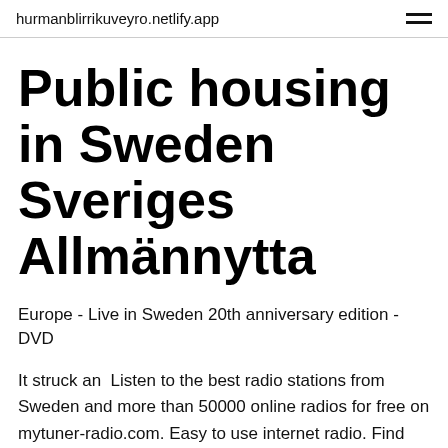hurmanblirrikuveyro.netlify.app
Public housing in Sweden Sveriges Allmännytta
Europe - Live in Sweden 20th anniversary edition - DVD
It struck an  Listen to the best radio stations from Sweden and more than 50000 online radios for free on mytuner-radio.com. Easy to use internet radio. Find live music near you. Buy tickets for every